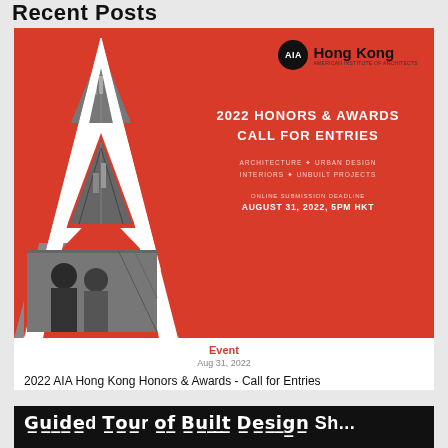Recent Posts
[Figure (illustration): AIA Hong Kong 2022 Honors & Awards Call for Entries promotional poster. Red background with large white letter A shape on the left containing black-and-white photos of architecture. Top right shows AIA Hong Kong logo. Center right text reads '2022 HONORS & AWARDS CALL FOR ENTRIES' with categories 'ARCHITECTURE • URBAN DESIGN INTERIORS • UNBUILT PROJECTS' and deadline 'ONLINE SUBMISSION DEADLINE AUGUST 31, 2022, 5PM HKT'.]
Event
Aug 31, 2022
2022 AIA Hong Kong Honors & Awards - Call for Entries
[Figure (photo): Black banner at bottom of page showing partial text in white bold letters]